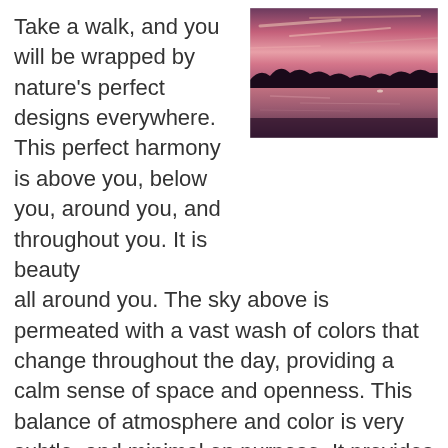[Figure (photo): A twilight/sunset photograph of a lake with pink and purple sky reflected in the still water, dark silhouetted treeline on the horizon.]
Take a walk, and you will be wrapped by nature's perfect designs everywhere. This perfect harmony is above you, below you, around you, and throughout you. It is beauty all around you. The sky above is permeated with a vast wash of colors that change throughout the day, providing a calm sense of space and openness. This balance of atmosphere and color is very subtle, and minimal on purpose. It provides the necessary soft contrast to a backdrop of other natural elements that are more dynamic, with darker colors, rougher textures, and greater details. Nature's landscape is in perfectly balance. Learn to appreciate the harmony of these natural palettes and embrace